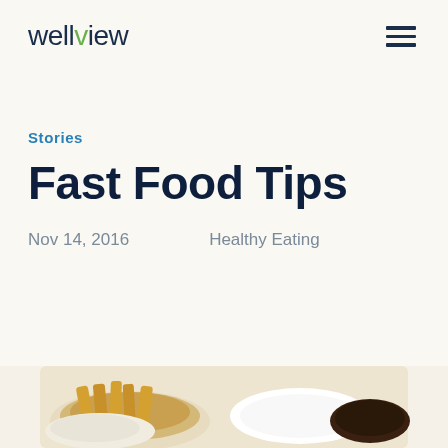wellview
Stories
Fast Food Tips
Nov 14, 2016    Healthy Eating
[Figure (photo): Photo of fast food items including what appears to be chips/fries and dipping sauce, partially visible at the bottom of the page]